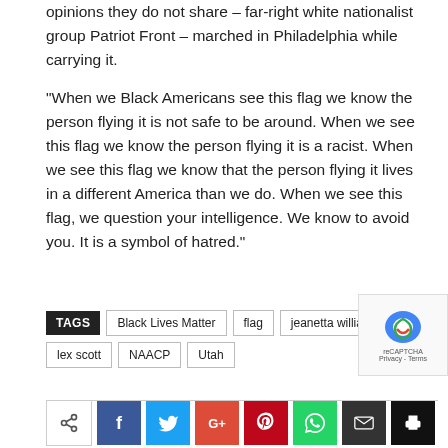opinions they do not share – far-right white nationalist group Patriot Front – marched in Philadelphia while carrying it.
“When we Black Americans see this flag we know the person flying it is not safe to be around. When we see this flag we know the person flying it is a racist. When we see this flag we know that the person flying it lives in a different America than we do. When we see this flag, we question your intelligence. We know to avoid you. It is a symbol of hatred.”
TAGS: Black Lives Matter, flag, jeanetta williams, lex scott, NAACP, Utah
[Figure (other): reCAPTCHA badge in bottom-right corner]
[Figure (other): Social sharing buttons: share, Facebook, Twitter, Google+, Pinterest, WhatsApp, Email, Print]